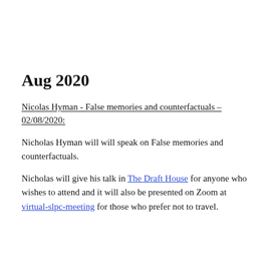Aug 2020
Nicolas Hyman - False memories and counterfactuals – 02/08/2020:
Nicholas Hyman will will speak on False memories and counterfactuals.
Nicholas will give his talk in The Draft House for anyone who wishes to attend and it will also be presented on Zoom at virtual-slpc-meeting for those who prefer not to travel.